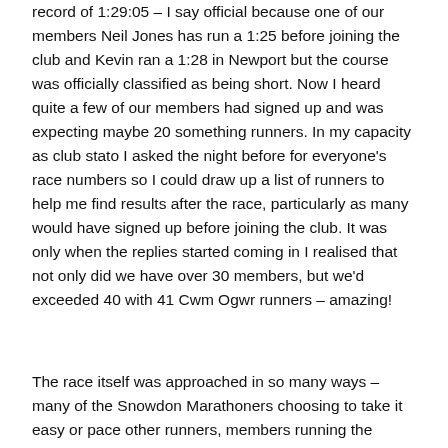record of 1:29:05 – I say official because one of our members Neil Jones has run a 1:25 before joining the club and Kevin ran a 1:28 in Newport but the course was officially classified as being short. Now I heard quite a few of our members had signed up and was expecting maybe 20 something runners. In my capacity as club stato I asked the night before for everyone's race numbers so I could draw up a list of runners to help me find results after the race, particularly as many would have signed up before joining the club. It was only when the replies started coming in I realised that not only did we have over 30 members, but we'd exceeded 40 with 41 Cwm Ogwr runners – amazing!
The race itself was approached in so many ways – many of the Snowdon Marathoners choosing to take it easy or pace other runners, members running the distance for